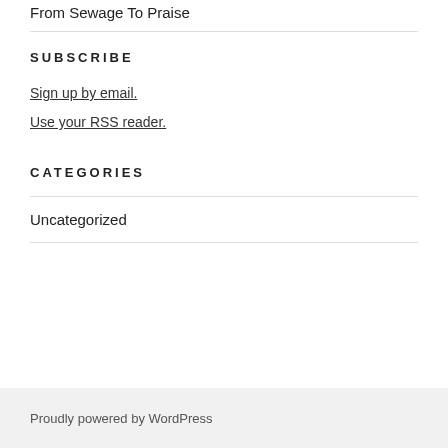From Sewage To Praise
SUBSCRIBE
Sign up by email.
Use your RSS reader.
CATEGORIES
Uncategorized
Proudly powered by WordPress